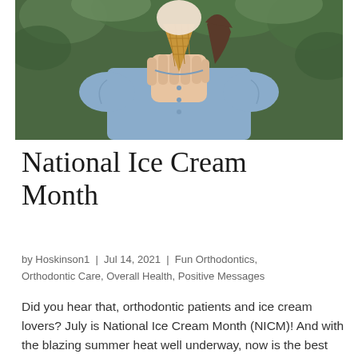[Figure (photo): Person in denim shirt holding a waffle ice cream cone up to their face, with green leafy background]
National Ice Cream Month
by Hoskinson1 | Jul 14, 2021 | Fun Orthodontics, Orthodontic Care, Overall Health, Positive Messages
Did you hear that, orthodontic patients and ice cream lovers? July is National Ice Cream Month (NICM)! And with the blazing summer heat well underway, now is the best time for orthodontic